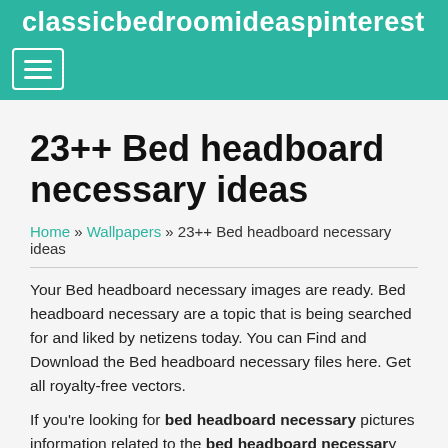classicbedroomideaspinterest
23++ Bed headboard necessary ideas
Home » Wallpapers » 23++ Bed headboard necessary ideas
Your Bed headboard necessary images are ready. Bed headboard necessary are a topic that is being searched for and liked by netizens today. You can Find and Download the Bed headboard necessary files here. Get all royalty-free vectors.
If you're looking for bed headboard necessary pictures information related to the bed headboard necessary topic, you have visit the ideal blog. Our website frequently gives you hints for seeking the highest quality video and